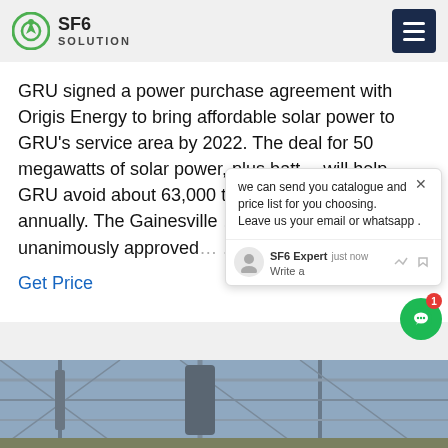SF6 SOLUTION
GRU signed a power purchase agreement with Origis Energy to bring affordable solar power to GRU's service area by 2022. The deal for 50 megawatts of solar power, plus batt... will help GRU avoid about 63,000 tons of emissions annually. The Gainesville Commission unanimously approved ... in July.
Get Price
we can send you catalogue and price list for you choosing. Leave us your email or whatsapp .
SF6 Expert   just now
Write a
[Figure (photo): Electrical substation or power infrastructure with metal structures, insulators, and equipment photographed outdoors]